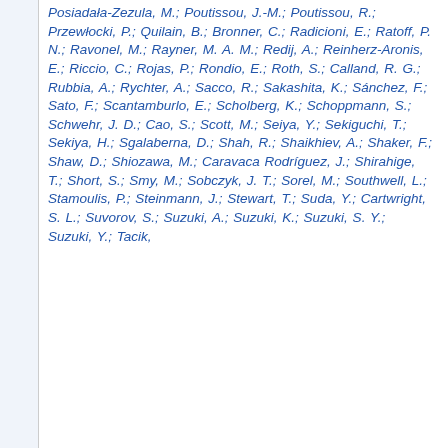Posiadała-Zezula, M.; Poutissou, J.-M.; Poutissou, R.; Przewłocki, P.; Quilain, B.; Bronner, C.; Radicioni, E.; Ratoff, P. N.; Ravonel, M.; Rayner, M. A. M.; Redij, A.; Reinherz-Aronis, E.; Riccio, C.; Rojas, P.; Rondio, E.; Roth, S.; Calland, R. G.; Rubbia, A.; Rychter, A.; Sacco, R.; Sakashita, K.; Sánchez, F.; Sato, F.; Scantamburlo, E.; Scholberg, K.; Schoppmann, S.; Schwehr, J. D.; Cao, S.; Scott, M.; Seiya, Y.; Sekiguchi, T.; Sekiya, H.; Sgalaberna, D.; Shah, R.; Shaikhiev, A.; Shaker, F.; Shaw, D.; Shiozawa, M.; Caravaca Rodríguez, J.; Shirahige, T.; Short, S.; Smy, M.; Sobczyk, J. T.; Sorel, M.; Southwell, L.; Stamoulis, P.; Steinmann, J.; Stewart, T.; Suda, Y.; Cartwright, S. L.; Suvorov, S.; Suzuki, A.; Suzuki, K.; Suzuki, S. Y.; Suzuki, Y.; Tacik,